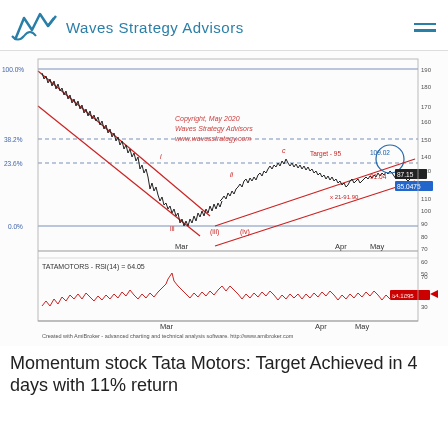Waves Strategy Advisors
[Figure (continuous-plot): Technical analysis chart of TATAMOTORS showing price action from March to May 2020 with Elliott Wave labels, Fibonacci retracement levels (100.0%, 38.2%, 23.6%, 0.0%), RSI(14) indicator at bottom showing 64.05, red channel lines, target annotation 'Target - 95' at 91.04, copyright Waves Strategy Advisors May 2020. Price shows steep decline then partial recovery to ~87.15/85.0475 area. RSI indicator panel below price chart.]
Momentum stock Tata Motors: Target Achieved in 4 days with 11% return